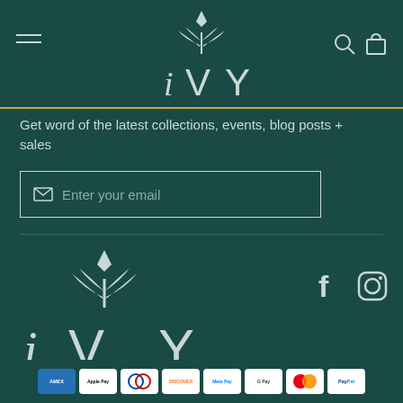[Figure (logo): IVY brand logo in white on dark teal background, with stylized plant/leaf icon above the letters i V Y]
Get word of the latest collections, events, blog posts + sales
[Figure (screenshot): Email input field with envelope icon and placeholder text 'Enter your email']
[Figure (logo): IVY brand logo repeated in footer area, larger version with plant icon]
[Figure (logo): Facebook and Instagram social media icons in white]
[Figure (other): Payment method icons row: American Express, Apple Pay, Diners Club, Discover, Meta Pay, Google Pay, Mastercard, PayPal]